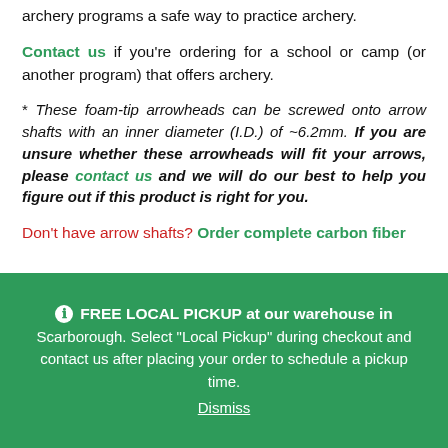archery programs a safe way to practice archery.
Contact us if you're ordering for a school or camp (or another program) that offers archery.
* These foam-tip arrowheads can be screwed onto arrow shafts with an inner diameter (I.D.) of ~6.2mm. If you are unsure whether these arrowheads will fit your arrows, please contact us and we will do our best to help you figure out if this product is right for you.
Don't have arrow shafts? Order complete carbon fiber
FREE LOCAL PICKUP at our warehouse in Scarborough. Select "Local Pickup" during checkout and contact us after placing your order to schedule a pickup time.
Dismiss